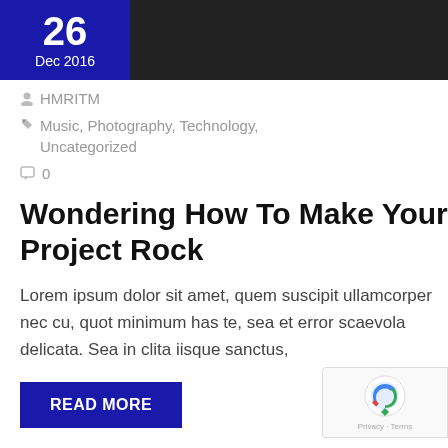[Figure (photo): Dark/black background image at the top of a blog post card]
26
Dec 2016
HMRITM
Music, Photography, Technology, Uncategorized
0
Wondering How To Make Your Project Rock
Lorem ipsum dolor sit amet, quem suscipit ullamcorper nec cu, quot minimum has te, sea et error scaevola delicata. Sea in clita iisque sanctus,
READ MORE